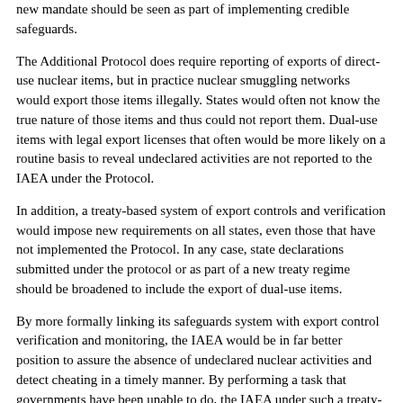new mandate should be seen as part of implementing credible safeguards.
The Additional Protocol does require reporting of exports of direct-use nuclear items, but in practice nuclear smuggling networks would export those items illegally. States would often not know the true nature of those items and thus could not report them. Dual-use items with legal export licenses that often would be more likely on a routine basis to reveal undeclared activities are not reported to the IAEA under the Protocol.
In addition, a treaty-based system of export controls and verification would impose new requirements on all states, even those that have not implemented the Protocol. In any case, state declarations submitted under the protocol or as part of a new treaty regime should be broadened to include the export of dual-use items.
By more formally linking its safeguards system with export control verification and monitoring, the IAEA would be in far better position to assure the absence of undeclared nuclear activities and detect cheating in a timely manner. By performing a task that governments have been unable to do, the IAEA under such a treaty-based system would significantly increase U.S. and international security.